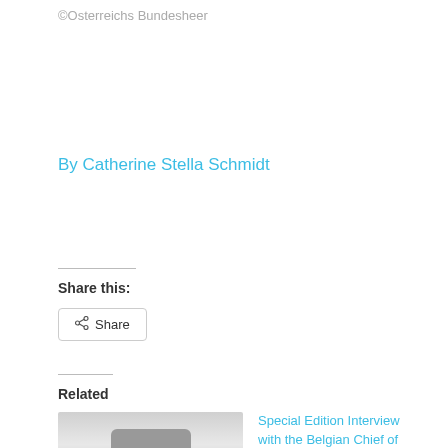©Osterreichs Bundesheer
By Catherine Stella Schmidt
Share this:
Share
Related
[Figure (photo): Grayscale thumbnail image with a rounded rectangle shape in center lower portion]
Special Edition Interview with the Belgian Chief of Defence Hon. Admiral